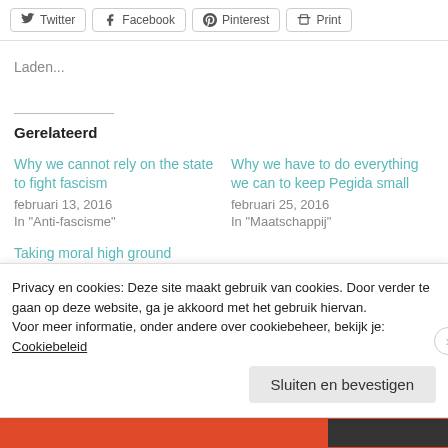Twitter | Facebook | Pinterest | Print
Laden...
Gerelateerd
Why we cannot rely on the state to fight fascism
februari 13, 2016
In "Anti-fascisme"
Why we have to do everything we can to keep Pegida small
februari 25, 2016
In "Maatschappij"
Taking moral high ground
Privacy en cookies: Deze site maakt gebruik van cookies. Door verder te gaan op deze website, ga je akkoord met het gebruik hiervan. Voor meer informatie, onder andere over cookiebeheer, bekijk je: Cookiebeleid
Sluiten en bevestigen